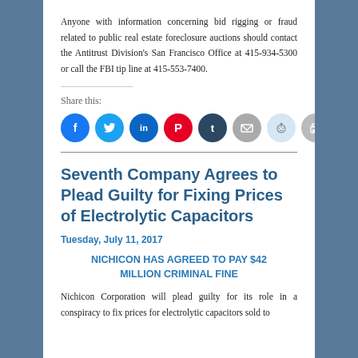Anyone with information concerning bid rigging or fraud related to public real estate foreclosure auctions should contact the Antitrust Division's San Francisco Office at 415-934-5300 or call the FBI tip line at 415-553-7400.
Share this:
[Figure (infographic): Social media sharing icons: Facebook (blue), Twitter (light blue), LinkedIn (dark blue), Pinterest (red), Tumblr (dark navy), Email (gray), Reddit (light blue/gray), Print (gray)]
Seventh Company Agrees to Plead Guilty for Fixing Prices of Electrolytic Capacitors
Tuesday, July 11, 2017
NICHICON HAS AGREED TO PAY $42 MILLION CRIMINAL FINE
Nichicon Corporation will plead guilty for its role in a conspiracy to fix prices for electrolytic capacitors sold to